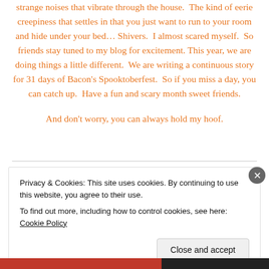strange noises that vibrate through the house.  The kind of eerie creepiness that settles in that you just want to run to your room and hide under your bed… Shivers.  I almost scared myself.  So friends stay tuned to my blog for excitement. This year, we are doing things a little different.  We are writing a continuous story for 31 days of Bacon's Spooktoberfest.  So if you miss a day, you can catch up.  Have a fun and scary month sweet friends.

And don't worry, you can always hold my hoof.
Privacy & Cookies: This site uses cookies. By continuing to use this website, you agree to their use.
To find out more, including how to control cookies, see here: Cookie Policy
Close and accept